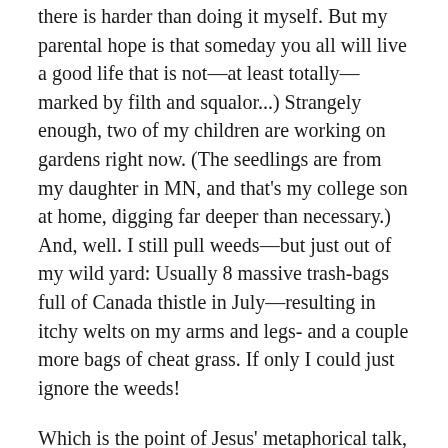there is harder than doing it myself. But my parental hope is that someday you all will live a good life that is not—at least totally—marked by filth and squalor...) Strangely enough, two of my children are working on gardens right now. (The seedlings are from my daughter in MN, and that's my college son at home, digging far deeper than necessary.) And, well. I still pull weeds—but just out of my wild yard: Usually 8 massive trash-bags full of Canada thistle in July—resulting in itchy welts on my arms and legs- and a couple more bags of cheat grass. If only I could just ignore the weeds!
Which is the point of Jesus' metaphorical talk, right? —Let it go, when it comes to the weeds. I mean, unfortunately, this isn't about your real crop, garden or yard if you want to nurture certain types of plants and their produce; or